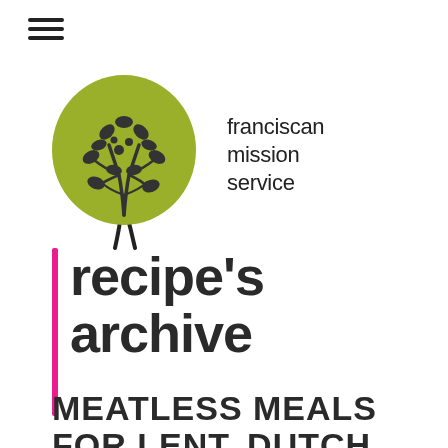[Figure (logo): Hamburger menu icon with three horizontal lines]
[Figure (logo): Franciscan Mission Service logo: olive-green tree illustration with text 'franciscan mission service' to the right]
recipe's archive
MEATLESS MEALS FOR LENT, DUTCH